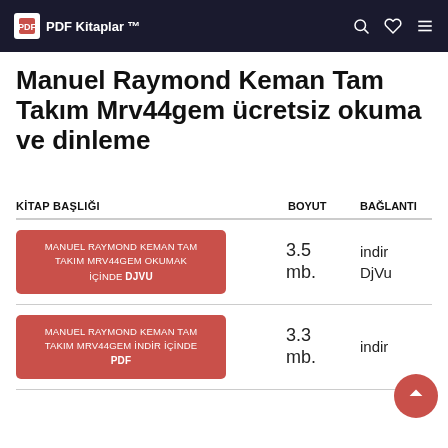PDF Kitaplar ™
Manuel Raymond Keman Tam Takım Mrv44gem ücretsiz okuma ve dinleme
| KİTAP BAŞLIĞI | BOYUT | BAĞLANTI |
| --- | --- | --- |
| MANUEL RAYMOND KEMAN TAM TAKIM MRV44GEM OKUMAK İÇİNDE DJVU | 3.5 mb. | indir DjVu |
| MANUEL RAYMOND KEMAN TAM TAKIM MRV44GEM İNDİR İÇİNDE PDF | 3.3 mb. | indir |